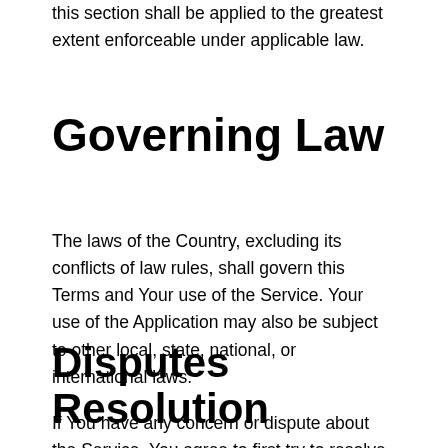this section shall be applied to the greatest extent enforceable under applicable law.
Governing Law
The laws of the Country, excluding its conflicts of law rules, shall govern this Terms and Your use of the Service. Your use of the Application may also be subject to other local, state, national, or international laws.
Disputes Resolution
If You have any concern or dispute about the Service, You agree to first try to resolve the dispute informally by